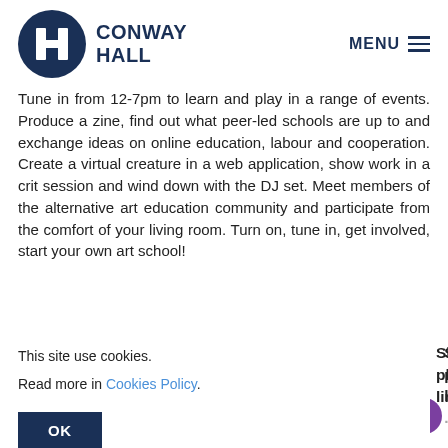[Figure (logo): Conway Hall logo: dark blue circle with white H icon, beside bold text CONWAY HALL]
MENU
Tune in from 12-7pm to learn and play in a range of events. Produce a zine, find out what peer-led schools are up to and exchange ideas on online education, labour and cooperation. Create a virtual creature in a web application, show work in a crit session and wind down with the DJ set. Meet members of the alternative art education community and participate from the comfort of your living room. Turn on, tune in, get involved, start your own art school!
This site use cookies.
Read more in Cookies Policy.
OK
Slow) Marathon will plication (avail le link to jo...nt ...of the...